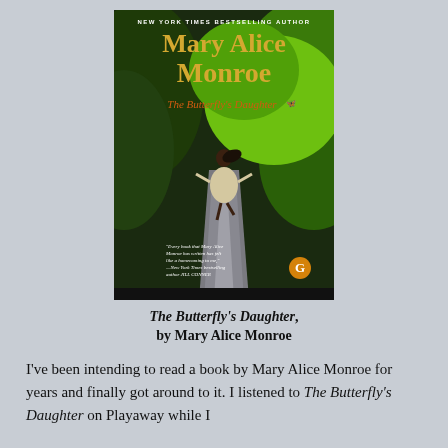[Figure (photo): Book cover of 'The Butterfly's Daughter' by Mary Alice Monroe. Shows a girl in a white dress running down a forest path, with green foliage on either side. 'NEW YORK TIMES BESTSELLING AUTHOR' text at top, author name in large gold text, book title in orange serif italic text.]
The Butterfly's Daughter, by Mary Alice Monroe
I've been intending to read a book by Mary Alice Monroe for years and finally got around to it. I listened to The Butterfly's Daughter on Playaway while I